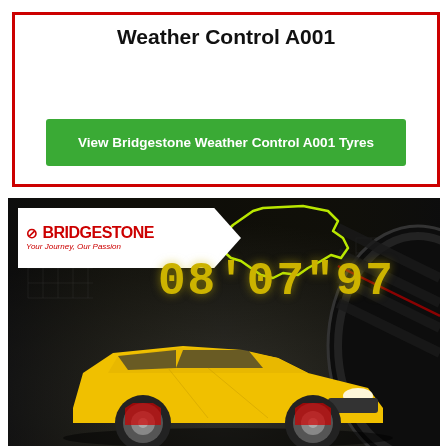Weather Control A001
View Bridgestone Weather Control A001 Tyres
[Figure (photo): Bridgestone advertisement photo showing a yellow sports car (Renault Megane RS) on a dark racing circuit background with a Bridgestone tire on the right side, Bridgestone logo with 'Your Journey, Our Passion' tagline in top left, a Nurburgring track outline in neon green, and a lap time display '08'07'97' in yellow digital font.]